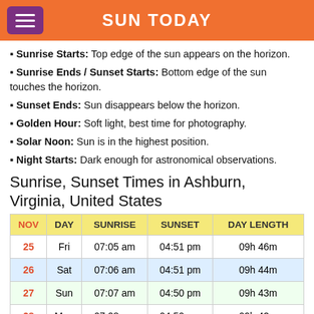SUN TODAY
Sunrise Starts: Top edge of the sun appears on the horizon.
Sunrise Ends / Sunset Starts: Bottom edge of the sun touches the horizon.
Sunset Ends: Sun disappears below the horizon.
Golden Hour: Soft light, best time for photography.
Solar Noon: Sun is in the highest position.
Night Starts: Dark enough for astronomical observations.
Sunrise, Sunset Times in Ashburn, Virginia, United States
| NOV | DAY | SUNRISE | SUNSET | DAY LENGTH |
| --- | --- | --- | --- | --- |
| 25 | Fri | 07:05 am | 04:51 pm | 09h 46m |
| 26 | Sat | 07:06 am | 04:51 pm | 09h 44m |
| 27 | Sun | 07:07 am | 04:50 pm | 09h 43m |
| 28 | Mon | 07:08 am | 04:50 pm | 09h 42m |
| 29 | Tue | 07:09 am | 04:50 pm | 09h 40m |